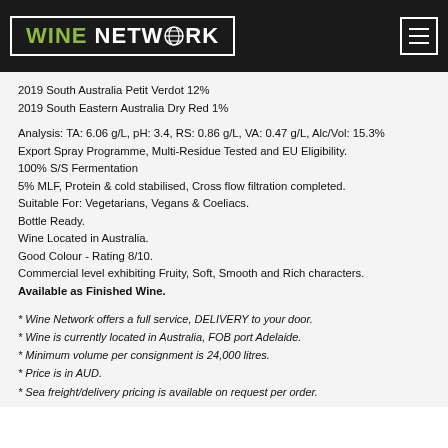WINE NETWORK
2019 South Australia Petit Verdot 12%
2019 South Eastern Australia Dry Red 1%
Analysis: TA: 6.06 g/L, pH: 3.4, RS: 0.86 g/L, VA: 0.47 g/L, Alc/Vol: 15.3%
Export Spray Programme, Multi-Residue Tested and EU Eligibility.
100% S/S Fermentation
5% MLF, Protein & cold stabilised, Cross flow filtration completed.
Suitable For: Vegetarians, Vegans & Coeliacs.
Bottle Ready.
Wine Located in Australia.
Good Colour - Rating 8/10.
Commercial level exhibiting Fruity, Soft, Smooth and Rich characters.
Available as Finished Wine.
* Wine Network offers a full service, DELIVERY to your door.
* Wine is currently located in Australia, FOB port Adelaide.
* Minimum volume per consignment is 24,000 litres.
* Price is in AUD.
* Sea freight/delivery pricing is available on request per order.